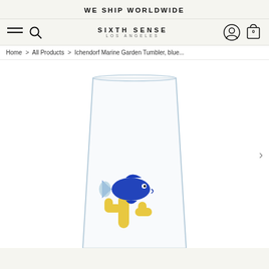WE SHIP WORLDWIDE
[Figure (logo): Sixth Sense Los Angeles logo with hamburger menu, search icon, user icon, and cart icon (0 items) in a navigation bar]
Home > All Products > Ichendorf Marine Garden Tumbler, blue...
[Figure (photo): Clear glass tumbler with a blue fish and yellow cactus figure inside, on white background. Partial view showing the bottom portion of the glass.]